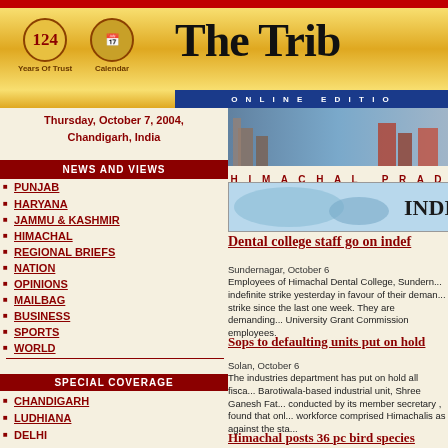The Tribune Online Edition — Thursday, October 7, 2004, Chandigarh, India
Thursday, October 7, 2004, Chandigarh, India
NEWS AND VIEWS
PUNJAB
HARYANA
JAMMU & KASHMIR
HIMACHAL
REGIONAL BRIEFS
NATION
OPINIONS
MAILBAG
BUSINESS
SPORTS
WORLD
SPECIAL COVERAGE
CHANDIGARH
LUDHIANA
DELHI
[Figure (photo): Himachal Pradesh banner photo with buildings]
HIMACHAL PRAD
[Figure (infographic): India world map banner]
Dental college staff go on indef
Sundernagar, October 6
Employees of Himachal Dental College, Sundern... indefinite strike yesterday in favour of their deman... strike since the last one week. They are demanding... University Grant Commission employees.
Sops to defaulting units put on hold
Solan, October 6
The industries department has put on hold all fisca... Barotiwala-based industrial unit, Shree Ganesh Fat... conducted by its member secretary , found that onl... workforce comprised Himachalis as against the sta...
Himachal posts 36 pc bird species